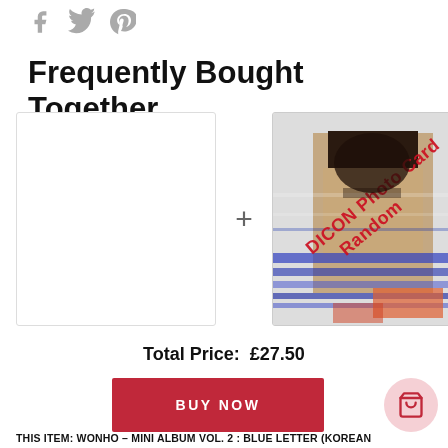[Figure (infographic): Social share icons: Facebook, Twitter, Pinterest in gray]
Frequently Bought Together
[Figure (photo): Two product boxes side by side with a plus sign between them. Left box is empty/white with a border. Right box shows a glitched photo of a person (K-pop style) with red diagonal text overlay reading 'DICON Photo Card Random']
Total Price:  £27.50
BUY NOW
THIS ITEM: WONHO - MINI ALBUM VOL. 2 : BLUE LETTER (KOREAN